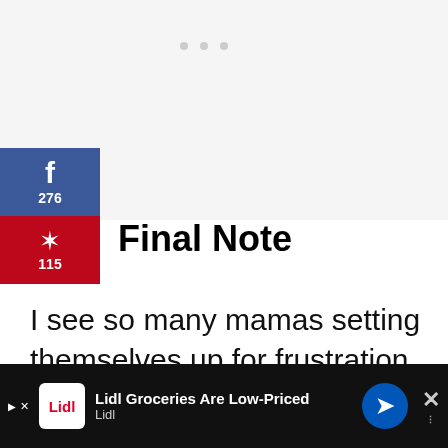[Figure (screenshot): Light gray placeholder area at top of page with three gray dots]
[Figure (infographic): Social share sidebar: Facebook button showing 276 shares (blue), Pinterest button showing 115 shares (red), total 391 SHARES count below]
Final Note
I see so many mamas setting themselves up for frustration by expecting to have their baby early and never realizing that most first time moms, on average, have th…
[Figure (screenshot): Ad banner at bottom: Lidl Groceries Are Low-Priced advertisement with Lidl logo and navigation arrow]